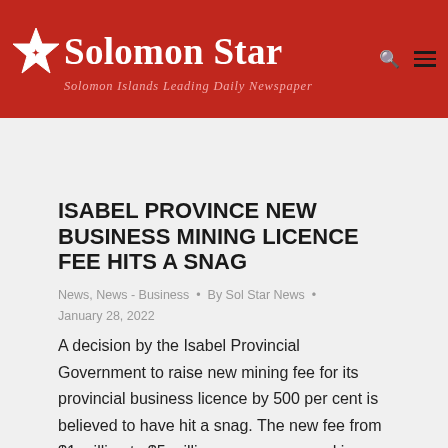Solomon Star – Solomon Islands Leading Daily Newspaper
ISABEL PROVINCE NEW BUSINESS MINING LICENCE FEE HITS A SNAG
News, News - Business • By Sol Star News • January 28, 2022
A decision by the Isabel Provincial Government to raise new mining fee for its provincial business licence by 500 per cent is believed to have hit a snag. The new fee from $1 million to $5 million a year appeared in amendments gazetted last year.